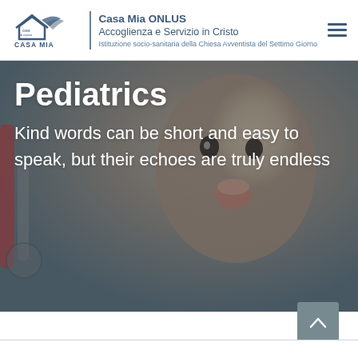[Figure (logo): Casa Mia casa di riposo logo with house and wing graphic]
Casa Mia ONLUS
Accoglienza e Servizio in Cristo
Istituzione socio-sanitaria della Chiesa Avventista del Settimo Giorno
[Figure (photo): Background photo of a smiling baby with a stethoscope, overlaid with white text reading 'Pediatrics' and a quote. Semi-transparent dark overlay.]
Pediatrics
Kind words can be short and easy to speak, but their echoes are truly endless